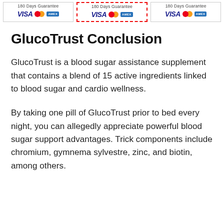[Figure (infographic): Three payment/guarantee boxes each showing '180 Days Guarantee' text with VISA, Mastercard, and American Express payment logos. The middle box has a red dashed border indicating it is selected.]
GlucoTrust Conclusion
GlucoTrust is a blood sugar assistance supplement that contains a blend of 15 active ingredients linked to blood sugar and cardio wellness.
By taking one pill of GlucoTrust prior to bed every night, you can allegedly appreciate powerful blood sugar support advantages. Trick components include chromium, gymnema sylvestre, zinc, and biotin, among others.